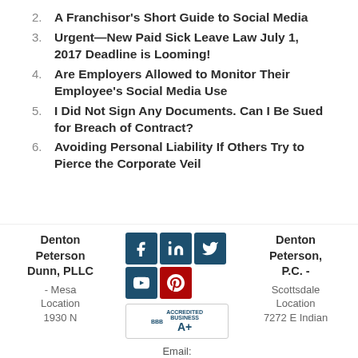2. A Franchisor's Short Guide to Social Media
3. Urgent—New Paid Sick Leave Law July 1, 2017 Deadline is Looming!
4. Are Employers Allowed to Monitor Their Employee's Social Media Use
5. I Did Not Sign Any Documents. Can I Be Sued for Breach of Contract?
6. Avoiding Personal Liability If Others Try to Pierce the Corporate Veil
[Figure (logo): Social media icons (Facebook, LinkedIn, Twitter, YouTube, Yelp) and BBB Accredited Business A+ badge]
Denton Peterson Dunn, PLLC - Mesa Location 1930 N
Email:
Denton Peterson, P.C. - Scottsdale Location 7272 E Indian